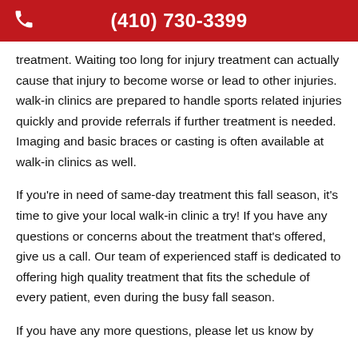(410) 730-3399
treatment. Waiting too long for injury treatment can actually cause that injury to become worse or lead to other injuries. walk-in clinics are prepared to handle sports related injuries quickly and provide referrals if further treatment is needed. Imaging and basic braces or casting is often available at walk-in clinics as well.
If you’re in need of same-day treatment this fall season, it’s time to give your local walk-in clinic a try! If you have any questions or concerns about the treatment that’s offered, give us a call. Our team of experienced staff is dedicated to offering high quality treatment that fits the schedule of every patient, even during the busy fall season.
If you have any more questions, please let us know by